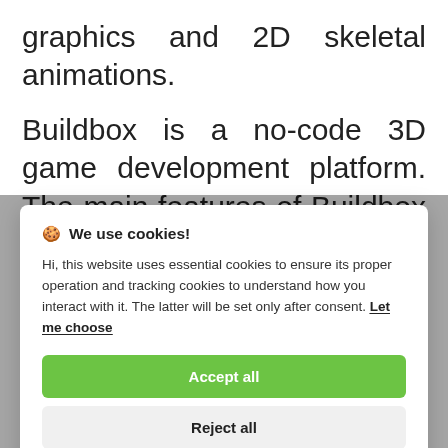graphics and 2D skeletal animations.
Buildbox is a no-code 3D game development platform. The main features of Buildbox include the image
[Figure (screenshot): Cookie consent modal dialog with title 'We use cookies!', body text explaining essential and tracking cookies, a 'Let me choose' link, an 'Accept all' green button, and a 'Reject all' grey button.]
conditions and time of day, and change